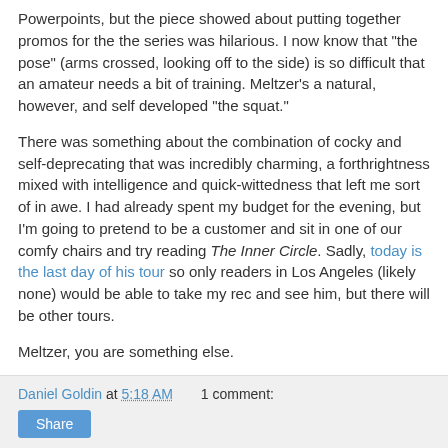Powerpoints, but the piece showed about putting together promos for the the series was hilarious. I now know that "the pose" (arms crossed, looking off to the side) is so difficult that an amateur needs a bit of training. Meltzer's a natural, however, and self developed "the squat."
There was something about the combination of cocky and self-deprecating that was incredibly charming, a forthrightness mixed with intelligence and quick-wittedness that left me sort of in awe. I had already spent my budget for the evening, but I'm going to pretend to be a customer and sit in one of our comfy chairs and try reading The Inner Circle. Sadly, today is the last day of his tour so only readers in Los Angeles (likely none) would be able to take my rec and see him, but there will be other tours.
Meltzer, you are something else.
Daniel Goldin at 5:18 AM    1 comment:   Share